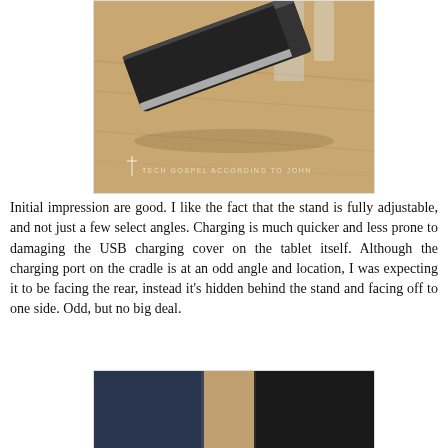[Figure (photo): Close-up photo of a black and silver tablet cradle/stand lying on a wooden surface, with a watermark reading 'TECH GOSPEL ACCORDING TO JOHN']
Initial impression are good. I like the fact that the stand is fully adjustable, and not just a few select angles. Charging is much quicker and less prone to damaging the USB charging cover on the tablet itself. Although the charging port on the cradle is at an odd angle and location, I was expecting it to be facing the rear, instead it's hidden behind the stand and facing off to one side. Odd, but no big deal.
[Figure (photo): Partial close-up photo showing the corner detail of a dark blue/black tablet cradle on a wooden surface]